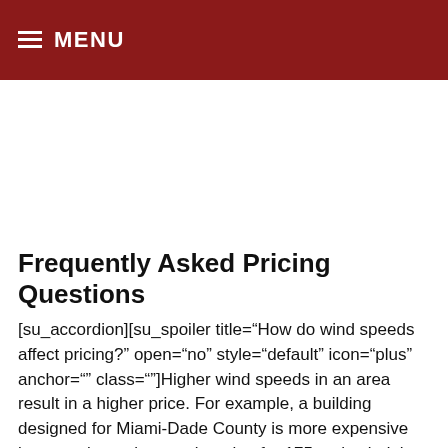≡ MENU
Frequently Asked Pricing Questions
[su_accordion][su_spoiler title="How do wind speeds affect pricing?" open="no" style="default" icon="plus" anchor="" class=""]Higher wind speeds in an area result in a higher price. For example, a building designed for Miami-Dade County is more expensive because it requires engineering for 175 mph wind than a building designed for the "The